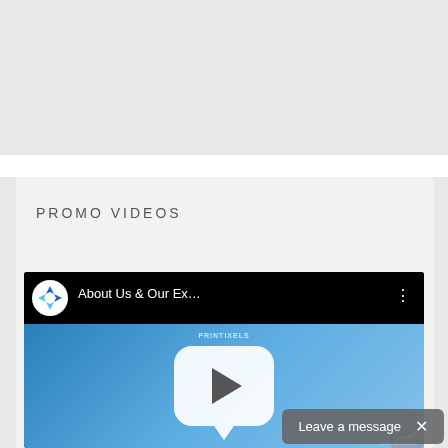PROMO VIDEOS
[Figure (screenshot): YouTube video player showing 'About Us & Our Ex...' video with a play button bubble overlay on a blue gradient thumbnail background. Video belongs to a company with a blue compass-like logo.]
Leave a message  ×